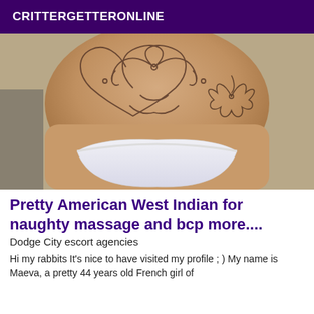CRITTERGETTERONLINE
[Figure (photo): Close-up photo of a person's lower back and torso with a tattoo, wearing white underwear]
Pretty American West Indian for naughty massage and bcp more....
Dodge City escort agencies
Hi my rabbits It's nice to have visited my profile ; ) My name is Maeva, a pretty 44 years old French girl of